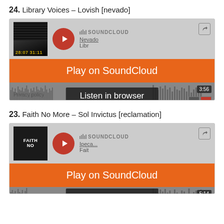24. Library Voices – Lovish [nevado]
[Figure (screenshot): SoundCloud embedded player for Library Voices – Lovish, showing Play on SoundCloud and Listen in browser buttons, waveform, duration 3:56, 29K plays]
23. Faith No More – Sol Invictus [reclamation]
[Figure (screenshot): SoundCloud embedded player for Faith No More – Sol Invictus, showing Play on SoundCloud and Listen in browser buttons, waveform, duration 5:14]